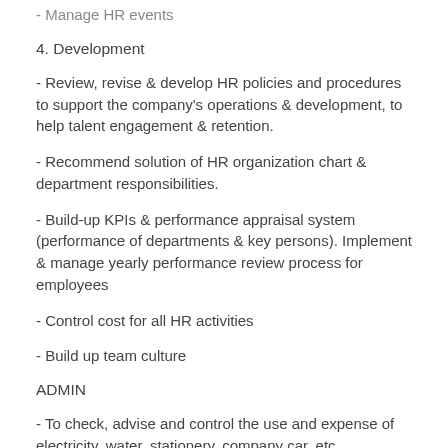- Manage HR events
4. Development
- Review, revise & develop HR policies and procedures to support the company's operations & development, to help talent engagement & retention.
- Recommend solution of HR organization chart & department responsibilities.
- Build-up KPIs & performance appraisal system (performance of departments & key persons). Implement & manage yearly performance review process for employees
- Control cost for all HR activities
- Build up team culture
ADMIN
- To check, advise and control the use and expense of electricity, water, stationery, company car, etc.
- Planning for cost control of relevant issues under responsibilities of admin.
- To check for ensuring the good condition of fittings, furniture,